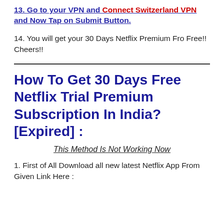13. Go to your VPN and Connect Switzerland VPN and Now Tap on Submit Button.
14. You will get your 30 Days Netflix Premium Fro Free!! Cheers!!
How To Get 30 Days Free Netflix Trial Premium Subscription In India? [Expired] :
This Method Is Not Working Now
1. First of All Download all new latest Netflix App From Given Link Here :